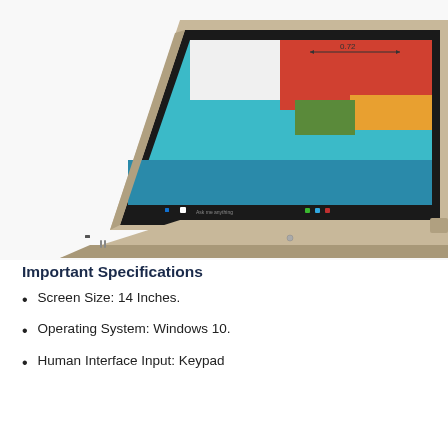[Figure (photo): A Lenovo 2-in-1 laptop in tent/display mode with a gold/champagne aluminum chassis, showing Windows 10 desktop on screen with a red and teal UI, and a dimension label '0.72' on screen. The keyboard base is folded back flat.]
Important Specifications
Screen Size: 14 Inches.
Operating System: Windows 10.
Human Interface Input: Keypad